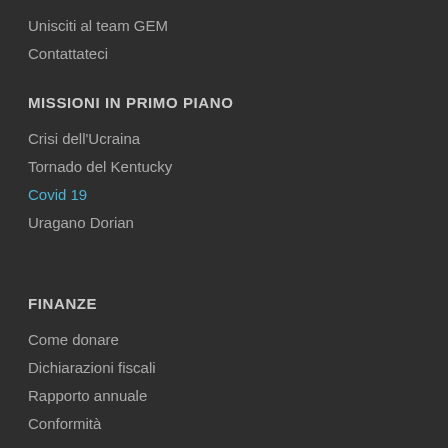Unisciti al team GEM
Contattateci
MISSIONI IN PRIMO PIANO
Crisi dell'Ucraina
Tornado del Kentucky
Covid 19
Uragano Dorian
FINANZE
Come donare
Dichiarazioni fiscali
Rapporto annuale
Conformità